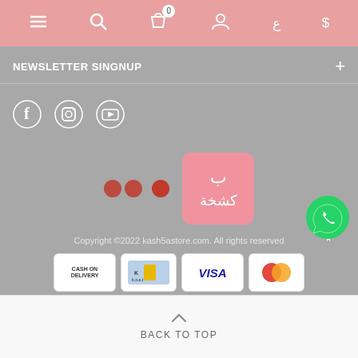Navigation bar with menu, search, cart (0), profile, currency icons (ع $)
NEWSLETTER SINGNUP
[Figure (illustration): Social media icons: Facebook, Instagram, YouTube in white on grey background]
[Figure (logo): Flickr-style dots (two red circles and one red circle) alongside Kashkha store pink logo with Arabic text]
Copyright ©2022 kash5astore.com. All rights reserved
[Figure (illustration): Payment method icons: Cash on Delivery, KK (Knet), Visa, MasterCard]
[Figure (illustration): WhatsApp contact button (green circular icon)]
BACK TO TOP